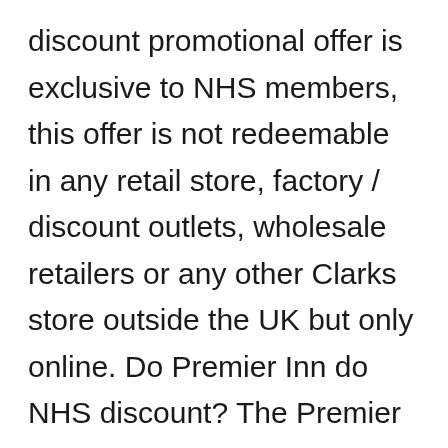discount promotional offer is exclusive to NHS members, this offer is not redeemable in any retail store, factory / discount outlets, wholesale retailers or any other Clarks store outside the UK but only online. Do Premier Inn do NHS discount? The Premier Inn NHS discount code gets you discounts on the Premier Inn chain, you can look